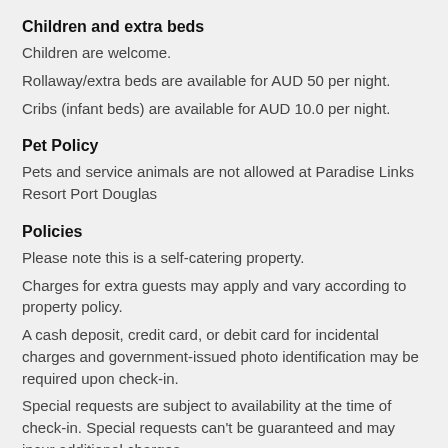Children and extra beds
Children are welcome.
Rollaway/extra beds are available for AUD 50 per night.
Cribs (infant beds) are available for AUD 10.0 per night.
Pet Policy
Pets and service animals are not allowed at Paradise Links Resort Port Douglas
Policies
Please note this is a self-catering property.
Charges for extra guests may apply and vary according to property policy.
A cash deposit, credit card, or debit card for incidental charges and government-issued photo identification may be required upon check-in.
Special requests are subject to availability at the time of check-in. Special requests can't be guaranteed and may incur additional charges.
This property is managed by a professional host. The provision of housing is linked to their trade, business, or profession. This property accepts Visa, Mastercard, American Express, and cash. This property